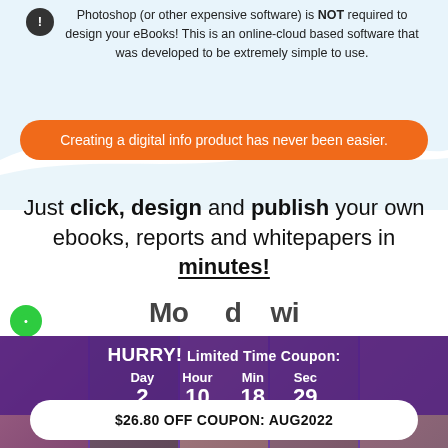Photoshop (or other expensive software) is NOT required to design your eBooks! This is an online-cloud based software that was developed to be extremely simple to use.
Creating a digital info product has never been easier.
Just click, design and publish your own ebooks, reports and whitepapers in minutes!
HURRY! Limited Time Coupon:
Day 2  Hour 10  Min 18  Sec 29
$26.80 OFF COUPON: AUG2022